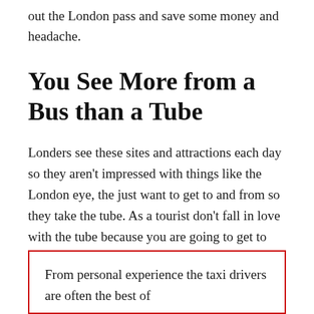out the London pass and save some money and headache.
You See More from a Bus than a Tube
Londers see these sites and attractions each day so they aren't impressed with things like the London eye, the just want to get to and from so they take the tube. As a tourist don't fall in love with the tube because you are going to get to see a lot of sites than if you opt for a bus or even a taxi.
From personal experience the taxi drivers are often the best of…